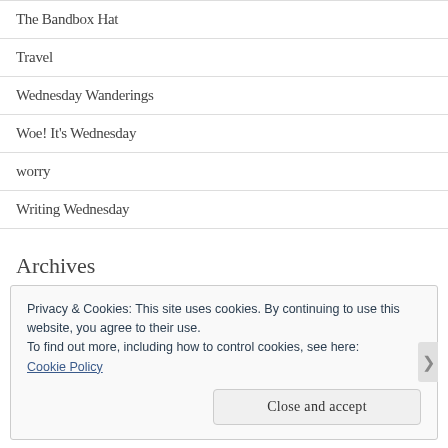The Bandbox Hat
Travel
Wednesday Wanderings
Woe! It's Wednesday
worry
Writing Wednesday
Archives
Privacy & Cookies: This site uses cookies. By continuing to use this website, you agree to their use.
To find out more, including how to control cookies, see here:
Cookie Policy
Close and accept